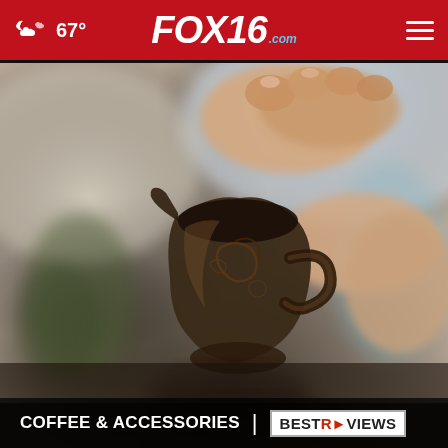FOX16.com — 67° weather — navigation header
[Figure (photo): Person holding an ornate dark metal Turkish coffee pot (cezve) with decorative engravings, blurred background with soft bokeh, hands visible at top holding the handle]
COFFEE & ACCESSORIES | BESTREVIEWS